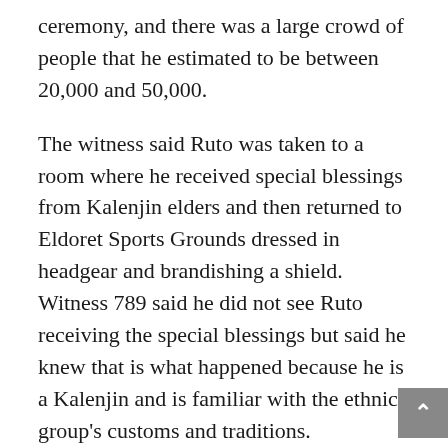ceremony, and there was a large crowd of people that he estimated to be between 20,000 and 50,000.
The witness said Ruto was taken to a room where he received special blessings from Kalenjin elders and then returned to Eldoret Sports Grounds dressed in headgear and brandishing a shield. Witness 789 said he did not see Ruto receiving the special blessings but said he knew that is what happened because he is a Kalenjin and is familiar with the ethnic group's customs and traditions.
After this description, the court went into private session. The rest of the day's testimony was conducted this way.